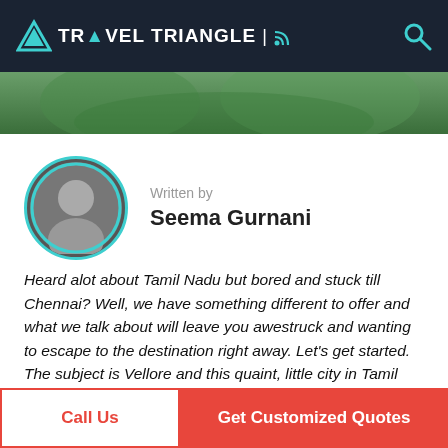Travel Triangle
[Figure (photo): Hero banner image of greenery/landscape at the top of the article]
Written by
Seema Gurnani
[Figure (photo): Circular avatar photo of author Seema Gurnani]
Heard alot about Tamil Nadu but bored and stuck till Chennai? Well, we have something different to offer and what we talk about will leave you awestruck and wanting to escape to the destination right away. Let's get started. The subject is Vellore and this quaint, little city in Tamil Nadu is wonderful. Located on the banks of River Palar, Vellore is a magnificent city in Tamil Nadu that features some amazing historical monuments and pilgrimage sites. The city has been ruled by various superpowers and is popularly known
Call Us | Get Customized Quotes